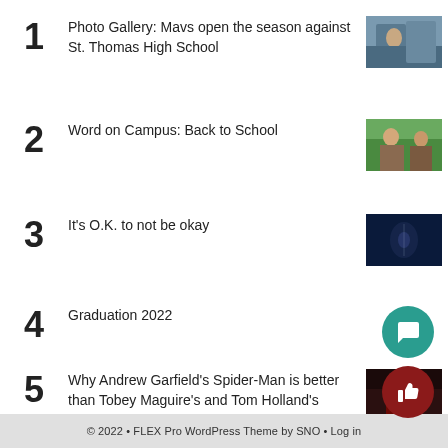1 Photo Gallery: Mavs open the season against St. Thomas High School
2 Word on Campus: Back to School
3 It's O.K. to not be okay
4 Graduation 2022
5 Why Andrew Garfield's Spider-Man is better than Tobey Maguire's and Tom Holland's
© 2022 • FLEX Pro WordPress Theme by SNO • Log in